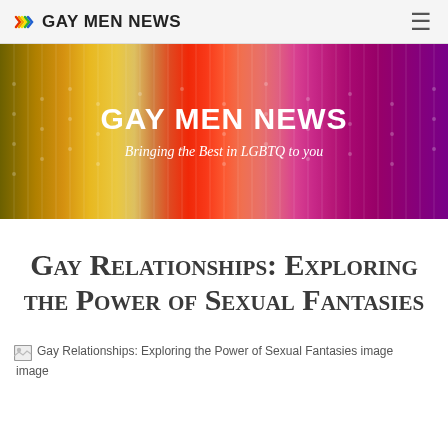Gay Men News
[Figure (photo): Rainbow-colored vertical stripes banner image with white text overlay reading 'Gay Men News' and subtitle 'Bringing the Best in LGBTQ to you']
Gay Relationships: Exploring the Power of Sexual Fantasies
[Figure (photo): Broken image placeholder labeled 'Gay Relationships: Exploring the Power of Sexual Fantasies image']